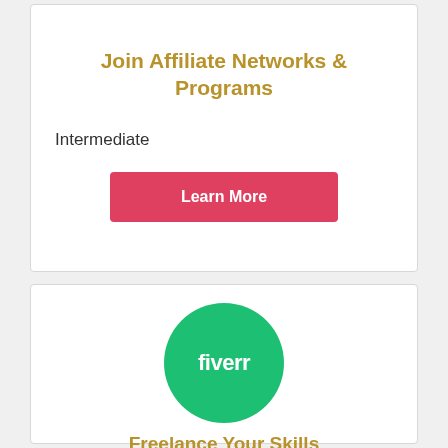Join Affiliate Networks & Programs
Intermediate
Learn More
[Figure (logo): Fiverr logo — white text 'fiverr' on a green circle]
Freelance Your Skills